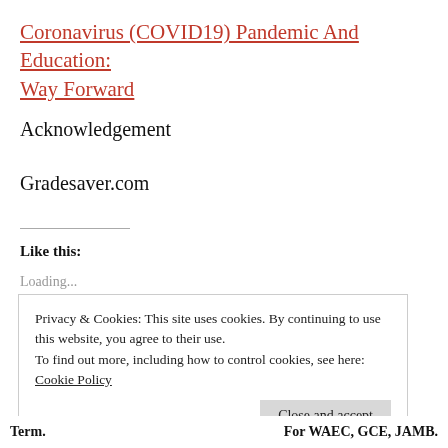Coronavirus (COVID19) Pandemic And Education: Way Forward
Acknowledgement
Gradesaver.com
Like this:
Loading...
Privacy & Cookies: This site uses cookies. By continuing to use this website, you agree to their use.
To find out more, including how to control cookies, see here: Cookie Policy
Term.                    For WAEC, GCE, JAMB.